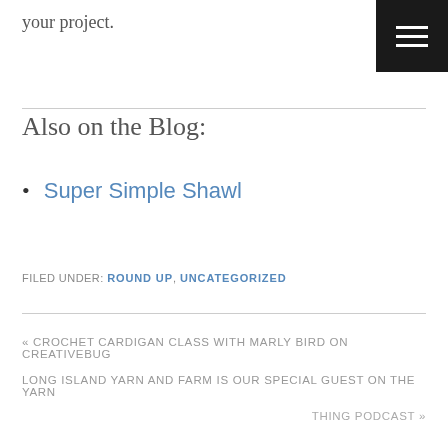your project.
Also on the Blog:
Super Simple Shawl
FILED UNDER: ROUND UP, UNCATEGORIZED
« CROCHET CARDIGAN CLASS WITH MARLY BIRD ON CREATIVEBUG
LONG ISLAND YARN AND FARM IS OUR SPECIAL GUEST ON THE YARN THING PODCAST »